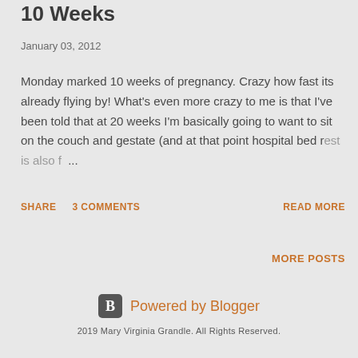10 Weeks
January 03, 2012
Monday marked 10 weeks of pregnancy. Crazy how fast its already flying by! What's even more crazy to me is that I've been told that at 20 weeks I'm basically going to want to sit on the couch and gestate (and at that point hospital bed rest is also f ...
SHARE   3 COMMENTS   READ MORE
MORE POSTS
Powered by Blogger
2019 Mary Virginia Grandle. All Rights Reserved.